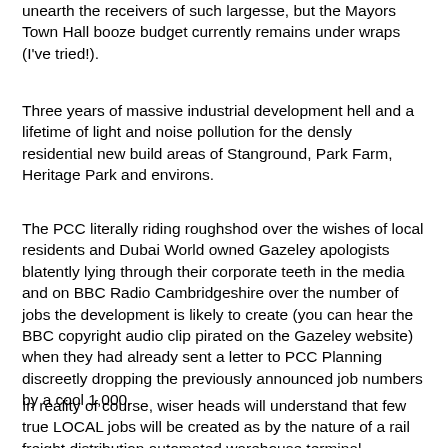unearth the receivers of such largesse, but the Mayors Town Hall booze budget currently remains under wraps (I've tried!).
Three years of massive industrial development hell and a lifetime of light and noise pollution for the densly residential new build areas of Stanground, Park Farm, Heritage Park and environs.
The PCC literally riding roughshod over the wishes of local residents and Dubai World owned Gazeley apologists blatently lying through their corporate teeth in the media and on BBC Radio Cambridgeshire over the number of jobs the development is likely to create (you can hear the BBC copyright audio clip pirated on the Gazeley website)  when they had already sent a letter to PCC Planning discreetly dropping the previously announced job numbers by a cool 1,000.
In reality of course, wiser heads will understand that few true LOCAL jobs will be created as by the nature of a rail freight distribution automated warehouse terminal, essentially as a